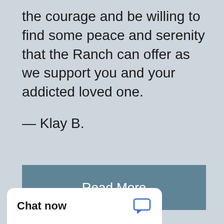the courage and be willing to find some peace and serenity that the Ranch can offer as we support you and your addicted loved one.
— Klay B.
Read More
Chat now